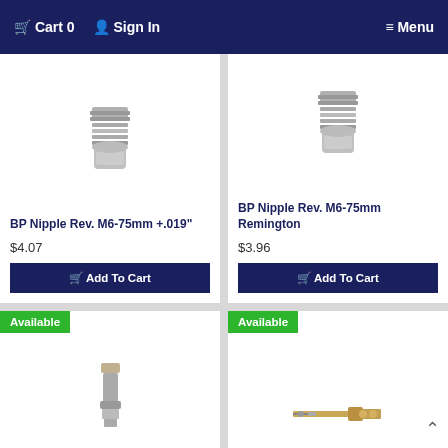Cart 0  Sign In  Menu
[Figure (photo): BP Nipple screw fitting, partially cropped at top, threaded metal part]
BP Nipple Rev. M6-75mm +.019"
$4.07
Add To Cart
[Figure (photo): BP Nipple screw fitting, partially cropped at top, threaded metal part]
BP Nipple Rev. M6-75mm Remington
$3.96
Add To Cart
Available
[Figure (photo): Small nipple/bolt fitting, bottom portion visible]
Available
[Figure (photo): Small brass/metal hardware assembly with spring-like components]